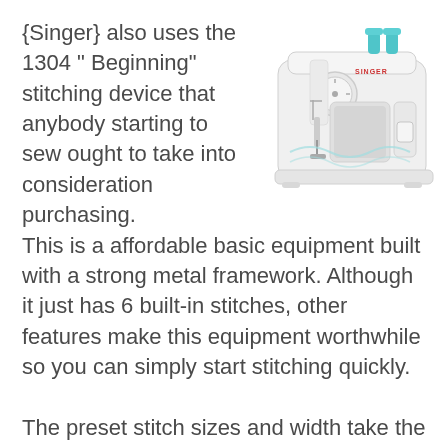{Singer} also uses the 1304 " Beginning" stitching device that anybody starting to sew ought to take into consideration purchasing. This is a affordable basic equipment built with a strong metal framework. Although it just has 6 built-in stitches, other features make this equipment worthwhile so you can simply start stitching quickly.
[Figure (photo): A white Singer sewing machine (model 1304 Beginning) shown from a front-right angle, with teal/blue accent colors on top spools, white body with light blue decorative wave pattern.]
The preset stitch sizes and width take the uncertainty out of establishing the dials appropriately. The zigzag and also straight stitching enables you to meddle